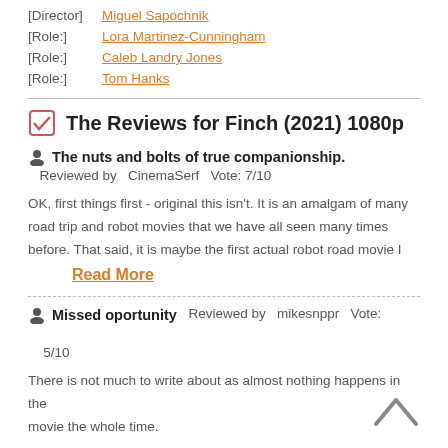[Director]  Miguel Sapochnik
[Role:]  Lora Martinez-Cunningham
[Role:]  Caleb Landry Jones
[Role:]  Tom Hanks
The Reviews for Finch (2021) 1080p
The nuts and bolts of true companionship.  Reviewed by  CinemaSerf  Vote: 7/10
OK, first things first - original this isn't. It is an amalgam of many road trip and robot movies that we have all seen many times before. That said, it is maybe the first actual robot road movie I
Read More
Missed oportunity  Reviewed by  mikesnppr  Vote: 5/10
There is not much to write about as almost nothing happens in the movie the whole time.